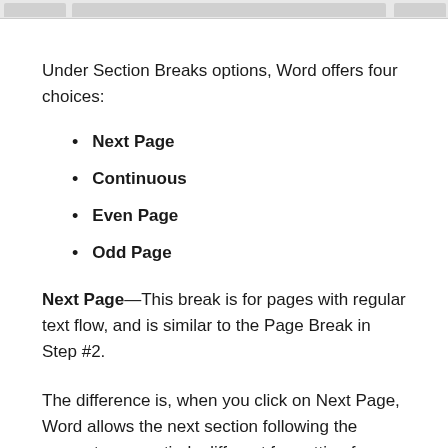Under Section Breaks options, Word offers four choices:
Next Page
Continuous
Even Page
Odd Page
Next Page—This break is for pages with regular text flow, and is similar to the Page Break in Step #2.
The difference is, when you click on Next Page, Word allows the next section following the cursor to use entirely different formatting from the previous section.